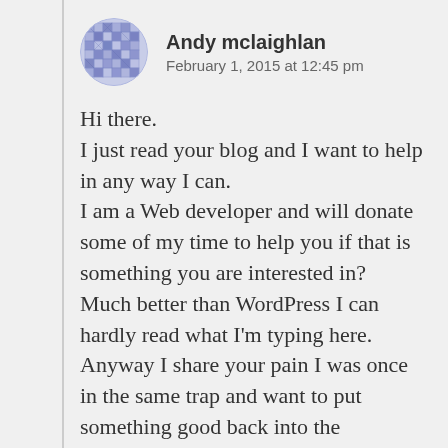[Figure (illustration): Circular avatar with blue/purple geometric mosaic pattern]
Andy mclaighlan
February 1, 2015 at 12:45 pm
Hi there.
I just read your blog and I want to help in any way I can.
I am a Web developer and will donate some of my time to help you if that is something you are interested in?
Much better than WordPress I can hardly read what I'm typing here.
Anyway I share your pain I was once in the same trap and want to put something good back into the community. You have raised awareness in something that's really needed in this country I raise my hat to you and good work!